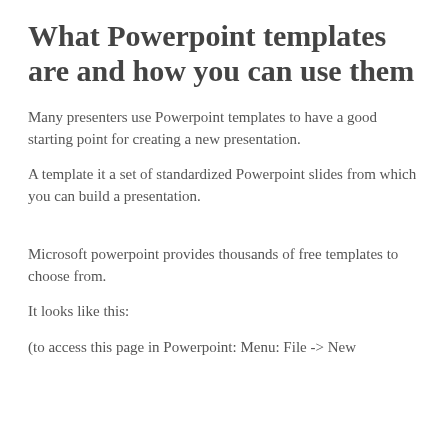What Powerpoint templates are and how you can use them
Many presenters use Powerpoint templates to have a good starting point for creating a new presentation.
A template it a set of standardized Powerpoint slides from which you can build a presentation.
Microsoft powerpoint provides thousands of free templates to choose from.
It looks like this:
(to access this page in Powerpoint: Menu: File -> New